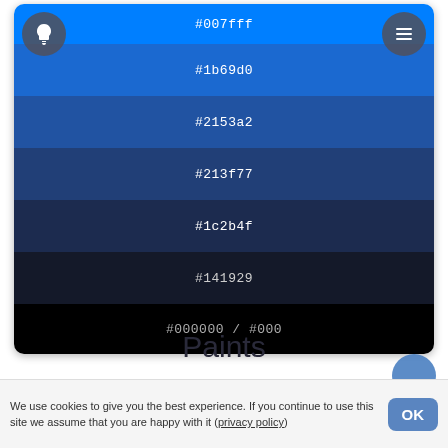[Figure (infographic): Color palette card showing 7 shades of blue to black with hex codes: #007fff, #1b69d0, #2153a2, #213f77, #1c2b4f, #141929, #000000 / #000]
Paints
Similar Paints
We use cookies to give you the best experience. If you continue to use this site we assume that you are happy with it (privacy policy)